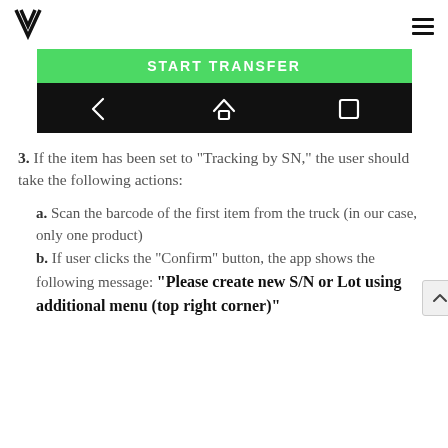V [logo] | hamburger menu
[Figure (screenshot): Mobile app screenshot showing a green START TRANSFER button and a black Android navigation bar with back, home, and recents icons]
3. If the item has been set to “Tracking by SN,” the user should take the following actions:
a. Scan the barcode of the first item from the truck (in our case, only one product)
b. If user clicks the “Confirm” button, the app shows the following message: “Please create new S/N or Lot using additional menu (top right corner)”